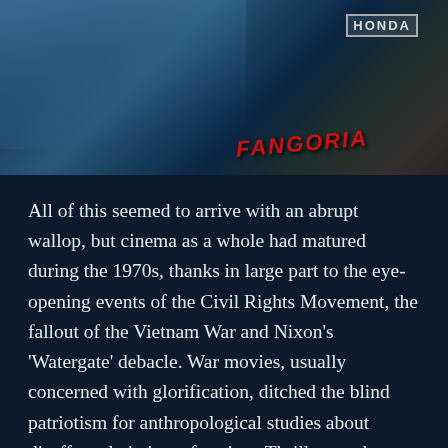[Figure (photo): A dark, moody photograph showing what appears to be ice or shattered glass in the upper left, with a Fangoria magazine visible in the lower right and a Honda logo/helmet in the upper right corner.]
All of this seemed to arrive with an abrupt wallop, but cinema as a whole had matured during the 1970s, thanks in large part to the eye-opening events of the Civil Rights Movement, the fallout of the Vietnam War and Nixon's 'Watergate' debacle. War movies, usually concerned with glorification, ditched the blind patriotism for anthropological studies about disaffected victims of society. Thrillers such as